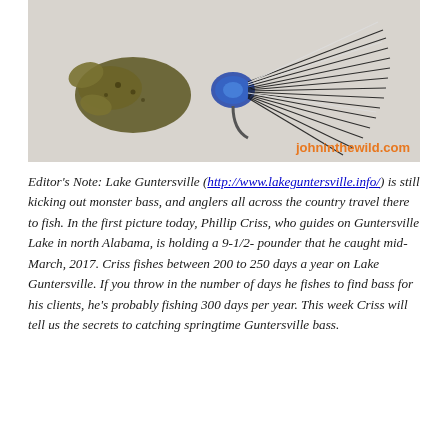[Figure (photo): Close-up photo of a fishing jig lure — a black rubber-skirted jig with a crawfish-style trailer in olive/brown color. The lure has a metallic blue-green jig head and long black rubber skirt strands. Watermark in orange text reads 'johninthewild.com' in the lower right corner of the image.]
Editor's Note: Lake Guntersville (http://www.lakeguntersville.info/) is still kicking out monster bass, and anglers all across the country travel there to fish. In the first picture today, Phillip Criss, who guides on Guntersville Lake in north Alabama, is holding a 9-1/2-pounder that he caught mid-March, 2017. Criss fishes between 200 to 250 days a year on Lake Guntersville. If you throw in the number of days he fishes to find bass for his clients, he's probably fishing 300 days per year. This week Criss will tell us the secrets to catching springtime Guntersville bass.